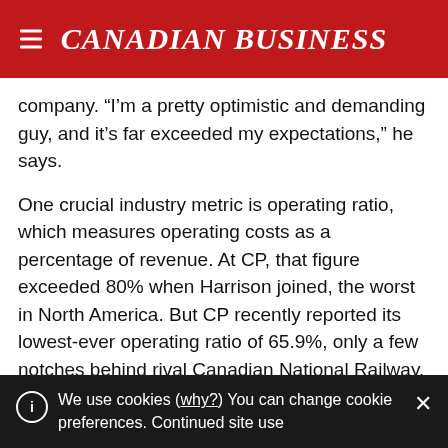CANADIAN BUSINESS
company. “I’m a pretty optimistic and demanding guy, and it’s far exceeded my expectations,” he says.
One crucial industry metric is operating ratio, which measures operating costs as a percentage of revenue. At CP, that figure exceeded 80% when Harrison joined, the worst in North America. But CP recently reported its lowest-ever operating ratio of 65.9%, only a few notches behind rival Canadian National Railway. Shareholders have been richly rewarded by his presence, with CP’s stock surging more than 90% since
We use cookies (why?) You can change cookie preferences. Continued site use